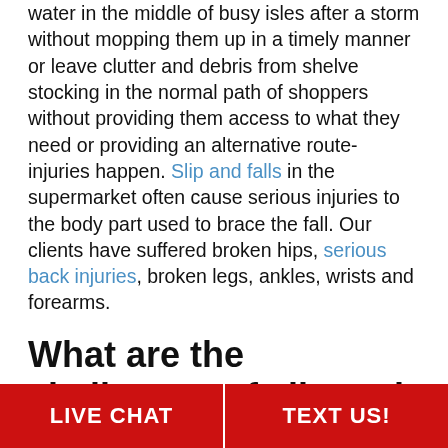water in the middle of busy isles after a storm without mopping them up in a timely manner or leave clutter and debris from shelve stocking in the normal path of shoppers without providing them access to what they need or providing an alternative route- injuries happen. Slip and falls in the supermarket often cause serious injuries to the body part used to brace the fall. Our clients have suffered broken hips, serious back injuries, broken legs, ankles, wrists and forearms.
What are the challenges of slip and fall claims in supermarkets?
Due to enormously high rates of claims reported in the last 10 years, slip and fall claims have become much
LIVE CHAT   TEXT US!